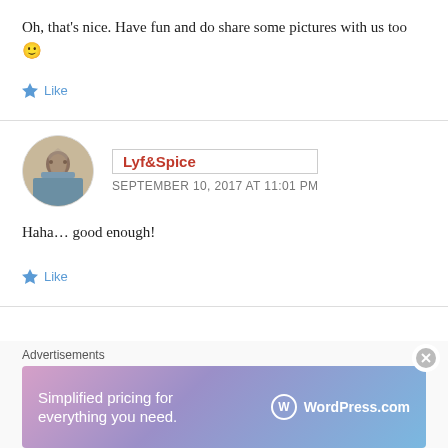Oh, that's nice. Have fun and do share some pictures with us too 🙂
Like
[Figure (photo): Circular avatar showing a person at a temple/ruins, profile picture for Lyf&Spice]
Lyf&Spice
SEPTEMBER 10, 2017 AT 11:01 PM
Haha… good enough!
Like
Advertisements
[Figure (screenshot): WordPress.com advertisement banner: 'Simplified pricing for everything you need.' with WordPress.com logo on a purple-pink-blue gradient background]